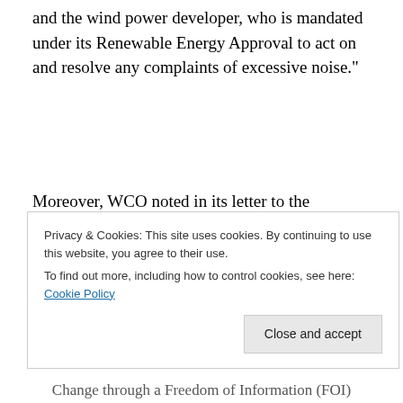and the wind power developer, who is mandated under its Renewable Energy Approval to act on and resolve any complaints of excessive noise."
Moreover, WCO noted in its letter to the Minister, the Cornwall office is not ensuring compliance to conditions of the Renewable Energy Approval, specifically results of the compliance audit, which must be posted on the wind
Privacy & Cookies: This site uses cookies. By continuing to use this website, you agree to their use.
To find out more, including how to control cookies, see here: Cookie Policy
Change through a Freedom of Information (FOI)